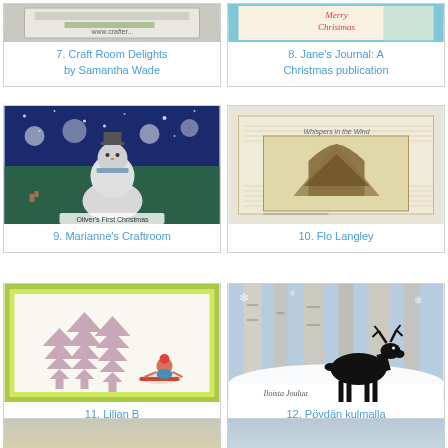[Figure (photo): Craft room card thumbnail - partial view at top]
7. Craft Room Delights by Samantha Wade
[Figure (photo): Christmas card with 'Merry Christmas' text - partial view at top]
8. Jane's Journal: A Christmas publication
[Figure (photo): Snowman Christmas card with Oliver's First Christmas text]
9. Marianne's Craftroom
[Figure (photo): Vintage style card with tree stamp and Whispers in the Wind text]
10. Flo Langley
[Figure (photo): Card with pine trees and child sledding, yellow-green ink background]
11. Lilian B
[Figure (photo): Winter card with black reindeer silhouette and birch trees, Finnish text Iloista Joulua]
12. Pöydän kulmalla näpertelijä
[Figure (photo): Bottom partial card thumbnail]
[Figure (photo): Bottom partial card thumbnail]